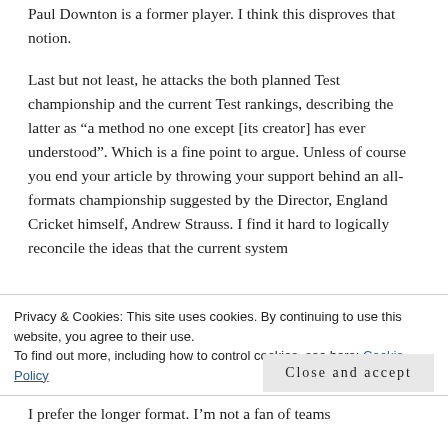Paul Downton is a former player. I think this disproves that notion.
Last but not least, he attacks the both planned Test championship and the current Test rankings, describing the latter as “a method no one except [its creator] has ever understood”. Which is a fine point to argue. Unless of course you end your article by throwing your support behind an all-formats championship suggested by the Director, England Cricket himself, Andrew Strauss. I find it hard to logically reconcile the ideas that the current system
Privacy & Cookies: This site uses cookies. By continuing to use this website, you agree to their use.
To find out more, including how to control cookies, see here: Cookie Policy
Close and accept
I prefer the longer format. I'm not a fan of teams